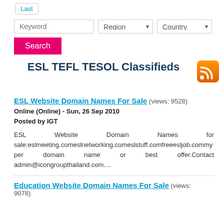Last
Keyword | Region | Country
Search
ESL TEFL TESOL Classifieds
ESL Website Domain Names For Sale (views: 9528)
Online (Online) - Sun, 26 Sep 2010
Posted by IGT
ESL Website Domain Names for sale:eslmeeting.comeslnetworking.comeslstuff.comfreeesljob.commy per domain name or best offer.Contact admin@icongroupthailand.com....
Education Website Domain Names For Sale (views: 9078)